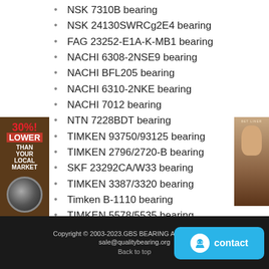NSK 7310B bearing
NSK 24130SWRCg2E4 bearing
FAG 23252-E1A-K-MB1 bearing
NACHI 6308-2NSE9 bearing
NACHI BFL205 bearing
NACHI 6310-2NKE bearing
NACHI 7012 bearing
NTN 7228BDT bearing
TIMKEN 93750/93125 bearing
TIMKEN 2796/2720-B bearing
SKF 23292CA/W33 bearing
TIMKEN 3387/3320 bearing
Timken B-1110 bearing
TIMKEN 5578/5535 bearing
SKF 61802 bearing
NTN 6215/72 bearing
NTN 6321N bearing
[Figure (infographic): Sidebar ad: 30% LOWER THAN YOUR LOCAL MARKET with bearing image]
[Figure (photo): Promotional image of a woman on brown background]
Copyright © 2003-2023.GBS BEARING All rights reserved. sale@qualitybearing.org Back to top